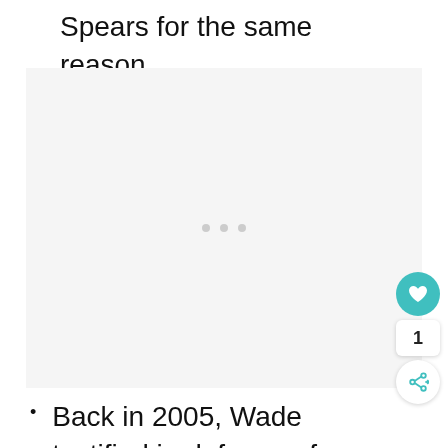Spears for the same reason.
[Figure (photo): Image placeholder with three gray dots in the center, indicating a loading or unavailable image area with light gray background.]
Back in 2005, Wade testified in defense of Jackson for child sexual